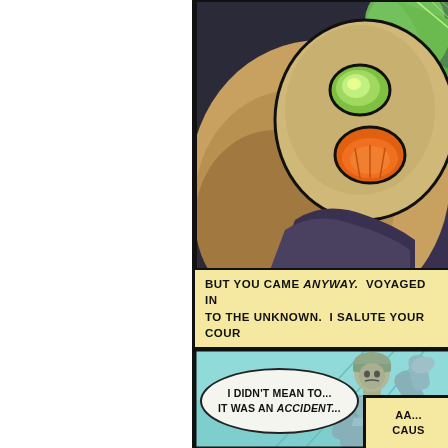[Figure (illustration): Top comic panel showing a large alien/creature face with an orange and green mouth/eye area, brown and tan coloring, on a dark background. Partial view cropped.]
BUT YOU CAME ANYWAY. VOYAGED INTO THE UNKNOWN. I SALUTE YOUR COUR...
[Figure (illustration): Middle-lower comic panel showing a soldier in armor saluting, rendered in blue-teal tones.]
I DIDN'T MEAN TO... IT WAS AN ACCIDENT...
AA... CAUS...